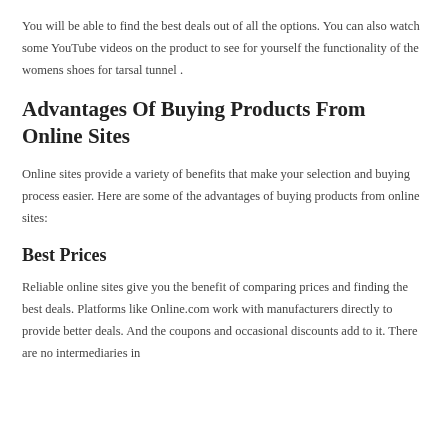You will be able to find the best deals out of all the options. You can also watch some YouTube videos on the product to see for yourself the functionality of the womens shoes for tarsal tunnel .
Advantages Of Buying Products From Online Sites
Online sites provide a variety of benefits that make your selection and buying process easier. Here are some of the advantages of buying products from online sites:
Best Prices
Reliable online sites give you the benefit of comparing prices and finding the best deals. Platforms like Online.com work with manufacturers directly to provide better deals. And the coupons and occasional discounts add to it. There are no intermediaries in